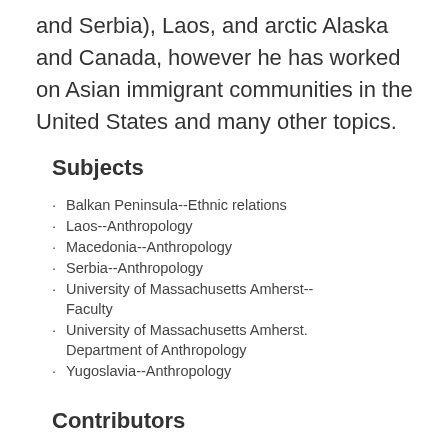and Serbia), Laos, and arctic Alaska and Canada, however he has worked on Asian immigrant communities in the United States and many other topics.
Subjects
Balkan Peninsula--Ethnic relations
Laos--Anthropology
Macedonia--Anthropology
Serbia--Anthropology
University of Massachusetts Amherst--Faculty
University of Massachusetts Amherst. Department of Anthropology
Yugoslavia--Anthropology
Contributors